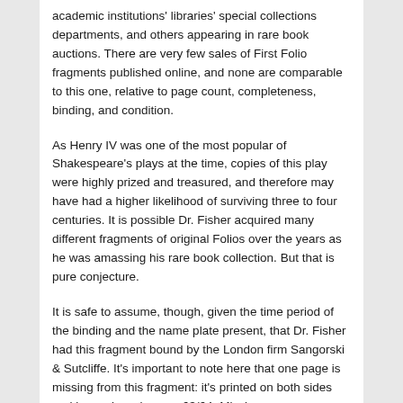academic institutions' libraries' special collections departments, and others appearing in rare book auctions. There are very few sales of First Folio fragments published online, and none are comparable to this one, relative to page count, completeness, binding, and condition.
As Henry IV was one of the most popular of Shakespeare's plays at the time, copies of this play were highly prized and treasured, and therefore may have had a higher likelihood of surviving three to four centuries. It is possible Dr. Fisher acquired many different fragments of original Folios over the years as he was amassing his rare book collection. But that is pure conjecture.
It is safe to assume, though, given the time period of the binding and the name plate present, that Dr. Fisher had this fragment bound by the London firm Sangorski & Sutcliffe. It's important to note here that one page is missing from this fragment: it's printed on both sides and is numbered pages 63/64. Missing pages are rather